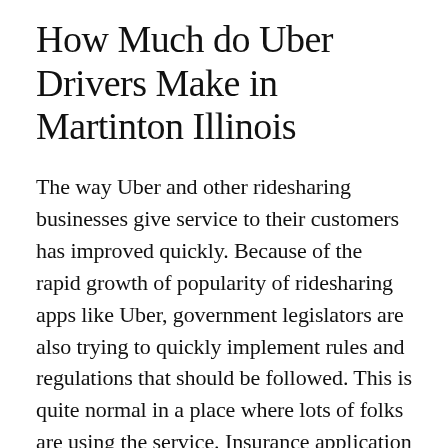How Much do Uber Drivers Make in Martinton Illinois
The way Uber and other ridesharing businesses give service to their customers has improved quickly. Because of the rapid growth of popularity of ridesharing apps like Uber, government legislators are also trying to quickly implement rules and regulations that should be followed. This is quite normal in a place where lots of folks are using the service. Insurance application for Uber drivers is one of the